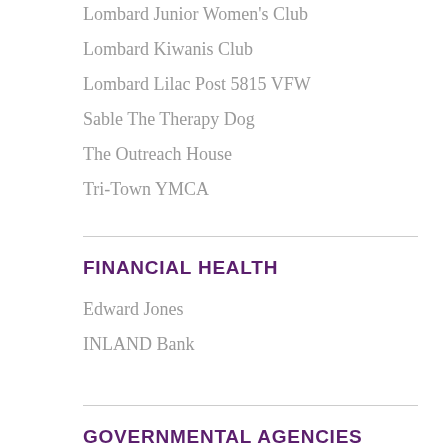Lombard Junior Women's Club
Lombard Kiwanis Club
Lombard Lilac Post 5815 VFW
Sable The Therapy Dog
The Outreach House
Tri-Town YMCA
FINANCIAL HEALTH
Edward Jones
INLAND Bank
GOVERNMENTAL AGENCIES
DuPage County Health Department